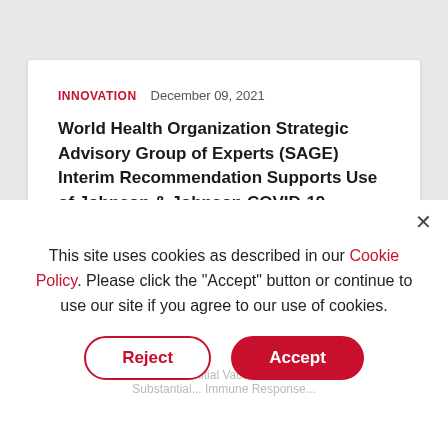INNOVATION  December 09, 2021
World Health Organization Strategic Advisory Group of Experts (SAGE) Interim Recommendation Supports Use of Johnson & Johnson COVID-19 Vaccine as a Booster
This site uses cookies as described in our Cookie Policy. Please click the "Accept" button or continue to use our site if you agree to our use of cookies.